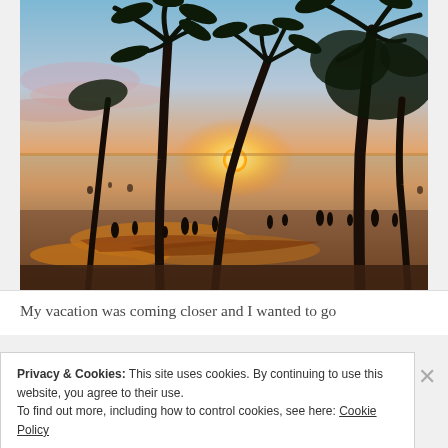[Figure (photo): A tropical beach sunset scene with tall palm trees silhouetted against an orange and pink sky. People are visible on the beach and in the water, with outrigger canoes in the foreground. The sun is setting on the horizon over the ocean.]
My vacation was coming closer and I wanted to go
Privacy & Cookies: This site uses cookies. By continuing to use this website, you agree to their use.
To find out more, including how to control cookies, see here: Cookie Policy
Close and accept